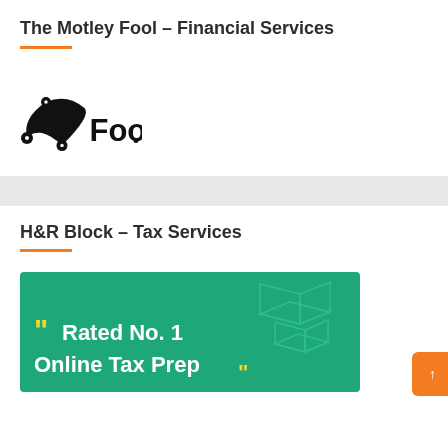The Motley Fool – Financial Services
[Figure (logo): The Motley Fool logo — jester hat icon with 'Fool.' wordmark in black]
H&R Block – Tax Services
[Figure (screenshot): H&R Block advertisement banner with green background showing '"Rated No. 1 Online Tax Prep"' in yellow and white text, with geometric cube shapes in the upper right. An orange scroll-to-top button with an upward arrow is visible on the right side.]